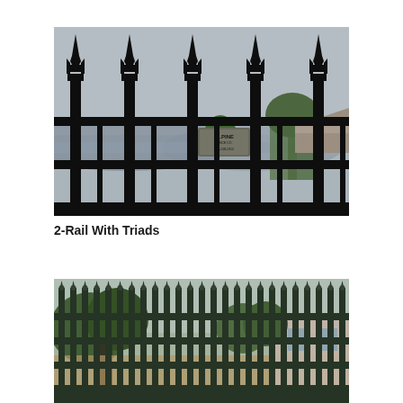[Figure (photo): Close-up photograph of a black wrought iron fence with 2 rails and decorative triad star-shaped finials on top of each vertical picket. An Alpine Fence Co. sign (206-248-1315) is visible through the fence. Trees and a house roof are seen in the background.]
2-Rail With Triads
[Figure (photo): Photograph of a dark green/black iron fence installation with multiple vertical pickets topped with pointed spear finials. The fence has horizontal rails and appears to be an ornamental iron fence in an outdoor setting with trees and a building visible in the background.]